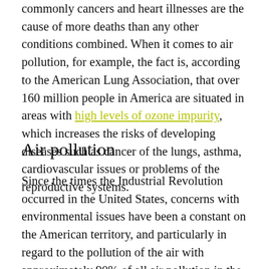commonly cancers and heart illnesses are the cause of more deaths than any other conditions combined. When it comes to air pollution, for example, the fact is, according to the American Lung Association, that over 160 million people in America are situated in areas with high levels of ozone impurity, which increases the risks of developing diseases such as cancer of the lungs, asthma, cardiovascular issues or problems of the reproductive systems.
Air pollution
Since the times the Industrial Revolution occurred in the United States, concerns with environmental issues have been a constant on the American territory, and particularly in regard to the pollution of the air with approximately 90% of all air pollution in the U. S. generated by fossil fuel burning to obtain the conveniences of functioning motor vehicles and heating and electrical systems for both industrial and individual uses.